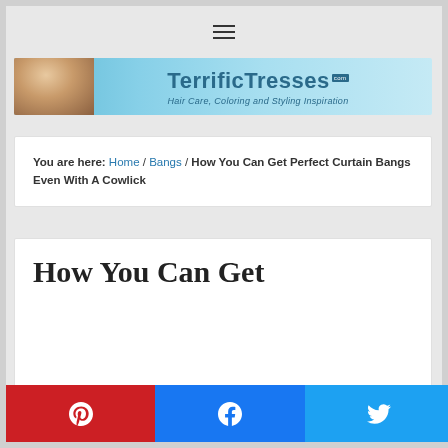[Figure (logo): TerrificTresses.com logo banner with woman with curly hair and text 'TerrificTresses.com - Hair Care, Coloring and Styling Inspiration' on light blue background]
You are here: Home / Bangs / How You Can Get Perfect Curtain Bangs Even With A Cowlick
How You Can Get
[Figure (infographic): Social share buttons: Pinterest (red), Facebook (blue), Twitter (light blue)]